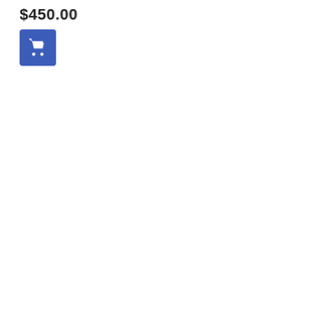$450.00
[Figure (other): Blue square button with a white shopping cart icon]